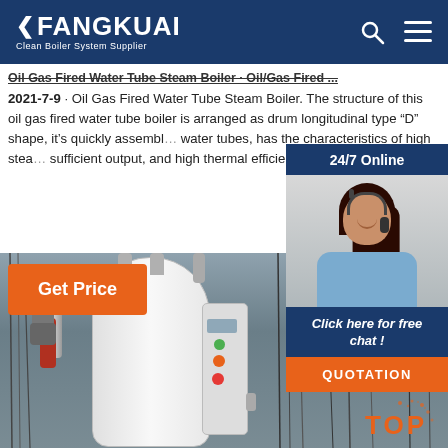FANGKUAI - Clean Boiler System Supplier
Oil Gas Fired Water Tube Steam Boiler · Oil/Gas Fired ... 2021-7-9 · Oil Gas Fired Water Tube Steam Boiler. The structure of this oil gas fired water tube boiler is arranged as drum longitudinal type “D” shape, it’s quickly assembled with water tubes, has the characteristics of high steam sufficient output, and high thermal efficiency (9…
[Figure (photo): Orange 'Get Price' button]
[Figure (photo): Chat widget with 24/7 Online label, female customer service representative with headset, 'Click here for free chat!' text, and QUOTATION orange button]
[Figure (photo): Photograph of a white vertical cylindrical industrial boiler/water heater with control panel, pipes, and wiring visible in an industrial setting. Orange TOP logo overlay in bottom right.]